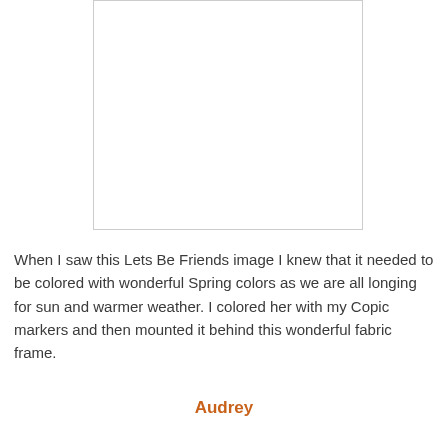[Figure (illustration): A framed white/blank image with a thin border, representing a card or artwork placeholder]
When I saw this Lets Be Friends image I knew that it needed to be colored with wonderful Spring colors as we are all longing for sun and warmer weather. I colored her with my Copic markers and then mounted it behind this wonderful fabric frame.
Audrey